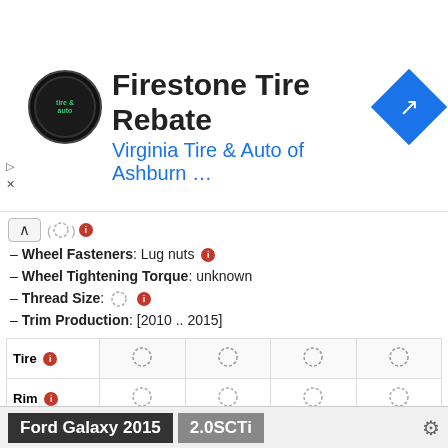[Figure (logo): Firestone Tire Rebate advertisement banner with Virginia Tire & Auto of Ashburn logo and navigation arrow icon]
( ) ℹ
– Wheel Fasteners: Lug nuts ℹ
– Wheel Tightening Torque: unknown
– Thread Size: ℹ
– Trim Production: [2010 .. 2015]
| Tire ℹ |  |  |  |  |
| --- | --- | --- | --- | --- |
| Rim ℹ | ○ | ○ | ○ | ○ |
| [tire icon] | ○ | ○ | ○ | ○ |
| ℹ | ○ | ○ | ○ | ○ |
⇔
Ford Galaxy 2015  2.0SCTi  ⚙